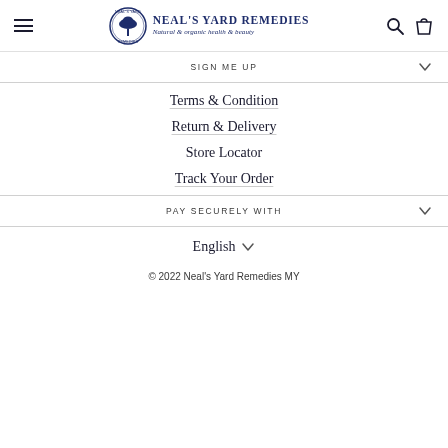Neal's Yard Remedies — Natural & organic health & beauty
SIGN ME UP
Terms & Condition
Return & Delivery
Store Locator
Track Your Order
PAY SECURELY WITH
English
© 2022 Neal's Yard Remedies MY